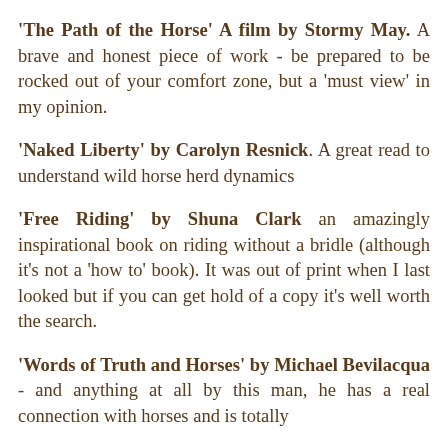'The Path of the Horse' A film by Stormy May. A brave and honest piece of work - be prepared to be rocked out of your comfort zone, but a 'must view' in my opinion.
'Naked Liberty' by Carolyn Resnick. A great read to understand wild horse herd dynamics
'Free Riding' by Shuna Clark an amazingly inspirational book on riding without a bridle (although it's not a 'how to' book). It was out of print when I last looked but if you can get hold of a copy it's well worth the search.
'Words of Truth and Horses' by Michael Bevilacqua - and anything at all by this man, he has a real connection with horses and is totally